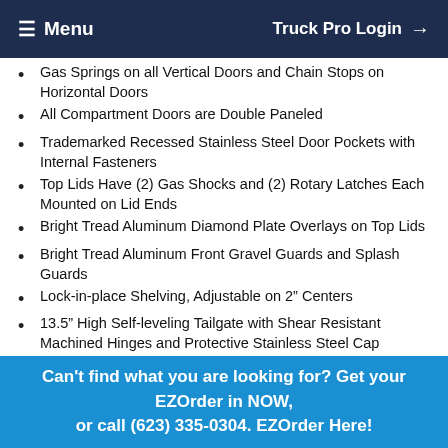≡ Menu   Truck Pro Login →
Gas Springs on all Vertical Doors and Chain Stops on Horizontal Doors
All Compartment Doors are Double Paneled
Trademarked Recessed Stainless Steel Door Pockets with Internal Fasteners
Top Lids Have (2) Gas Shocks and (2) Rotary Latches Each Mounted on Lid Ends
Bright Tread Aluminum Diamond Plate Overlays on Top Lids
Bright Tread Aluminum Front Gravel Guards and Splash Guards
Lock-in-place Shelving, Adjustable on 2" Centers
13.5" High Self-leveling Tailgate with Shear Resistant Machined Hinges and Protective Stainless Steel Cap
12 Gauge Diamond Plate Floor on 10 Gauge Crossmembers
Composite Fender Flares
Zinc-plated Hinge Rods with Hinge Blocks
Lighting Package Installed on Bumper Kick-plate
8" Rear Step Bumper
Can't find what you are looking for? Get your EZOrder in NOW, or call (623) 335-0304. EZOrder Here!